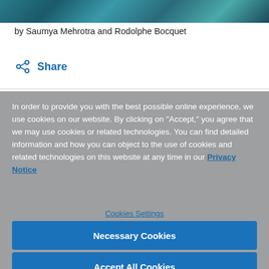[Figure (photo): Colorful decorative image strip at top of page]
by Saumya Mehrotra and Rodolphe Bocquet
Share
In order to provide you with the best possible online experience, we use cookies on our website. By clicking on "Accept," you agree that we may use cookies or related technologies. You can find detailed information and how you can object to the use of cookies and related technologies on this website at any time in our Privacy Notice
Cookies Settings
Necessary Cookies
Accept All Cookies